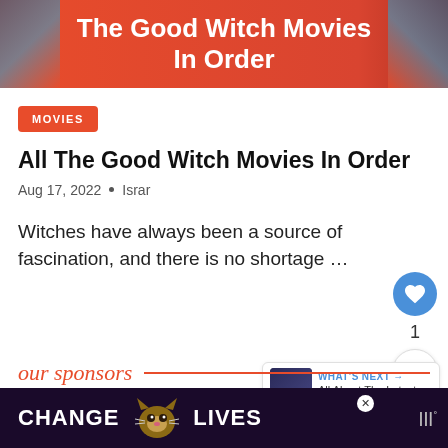[Figure (illustration): Orange/red banner with text 'The Good Witch Movies In Order' in white bold font on orange-red background with decorative side imagery]
MOVIES
All The Good Witch Movies In Order
Aug 17, 2022 • Israr
Witches have always been a source of fascination, and there is no shortage …
1
WHAT'S NEXT → All About The Latest Seas...
our sponsors
[Figure (photo): Advertisement banner with dark purple background showing text 'CHANGE LIVES' with a cat image in the center, close button, and brand logo on the right]